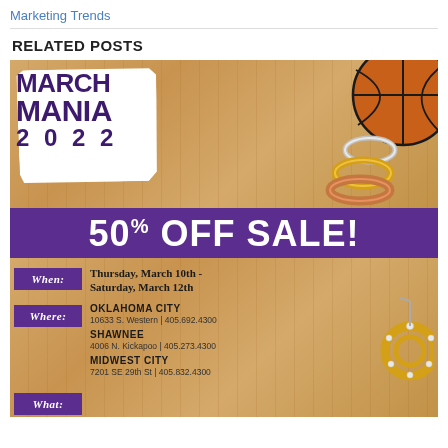Marketing Trends
RELATED POSTS
[Figure (infographic): March Mania 2022 jewelry sale advertisement. Purple and wood-tone design with basketball imagery and jewelry photos. 50% OFF SALE! WHEN: Thursday, March 10th - Saturday, March 12th. WHERE: Oklahoma City - 10633 S. Western | 405.692.4300; Shawnee - 4006 N. Kickapoo | 405.273.4300; Midwest City - 7201 SE 29th St | 405.832.4300. WHAT: [partial]]